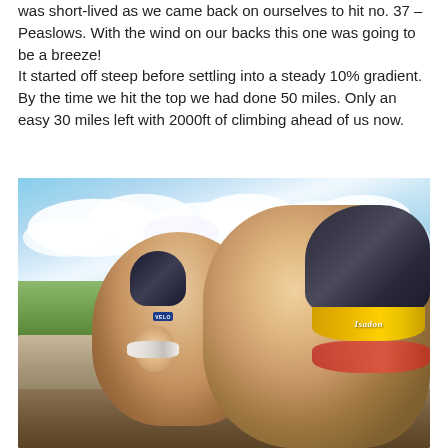was short-lived as we came back on ourselves to hit no. 37 – Peaslows. With the wind on our backs this one was going to be a breeze! It started off steep before settling into a steady 10% gradient. By the time we hit the top we had done 50 miles. Only an easy 30 miles left with 2000ft of climbing ahead of us now.
[Figure (photo): Selfie photo of two cyclists on a road. One cyclist in the foreground on the right wearing a dark helmet, yellow cycling cap with 'Isadon' text, and red mirrored sunglasses. The other cyclist in the background wearing a dark helmet with VELO logo and white sunglasses, smiling at the camera. Background shows open countryside with green fields, a dry stone wall, and a partly cloudy blue sky.]